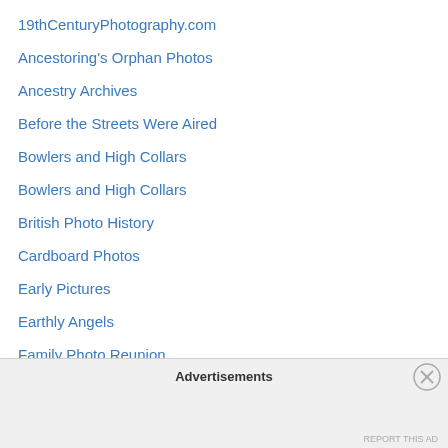19thCenturyPhotography.com
Ancestoring's Orphan Photos
Ancestry Archives
Before the Streets Were Aired
Bowlers and High Collars
Bowlers and High Collars
British Photo History
Cardboard Photos
Early Pictures
Earthly Angels
Family Photo Reunion
Find Your Family
Footlight Notes
Forgotten Faces and Long Ago Places
Forgotten Old Photos
Genesee Libby
Advertisements
REPORT THIS AD